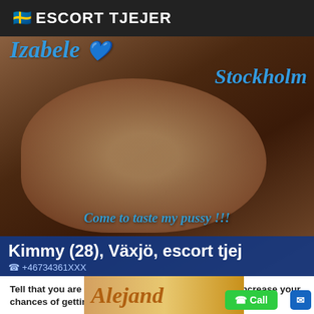🇸🇪 ESCORT TJEJER
[Figure (photo): Photo with overlaid text: 'Izabele 💙 Stockholm' and 'Come to taste my pussy !!!' with name bar 'Kimmy (28), Växjö, escort tjej' and phone number '+46734361XXX']
Tell that you are calling from sextjejer18.com.se to increase your chances of getting a discount.